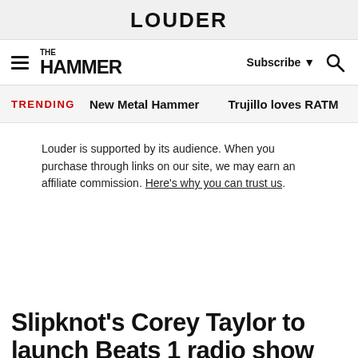LOUDER
[Figure (logo): Metal Hammer logo with hamburger menu, Subscribe button, and search icon navigation bar]
TRENDING   New Metal Hammer   Trujillo loves RATM
Louder is supported by its audience. When you purchase through links on our site, we may earn an affiliate commission. Here's why you can trust us.
Slipknot's Corey Taylor to launch Beats 1 radio show